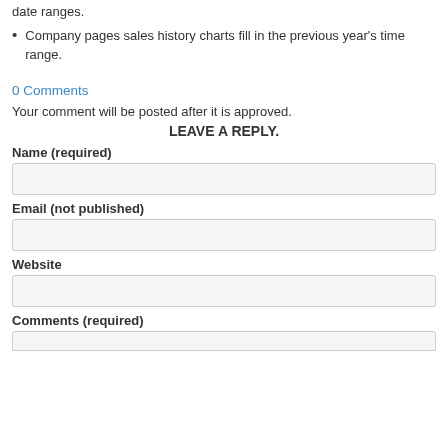date ranges.
Company pages sales history charts fill in the previous year's time range.
0 Comments
Your comment will be posted after it is approved.
LEAVE A REPLY.
Name (required)
Email (not published)
Website
Comments (required)